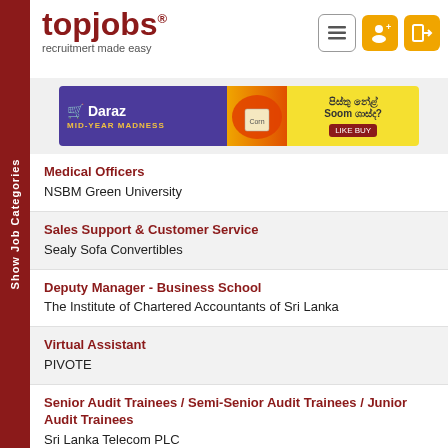[Figure (logo): topjobs logo with tagline 'recruitmert made easy']
[Figure (infographic): Daraz Mid-Year Madness advertisement banner]
Medical Officers
NSBM Green University
Sales Support & Customer Service
Sealy Sofa Convertibles
Deputy Manager - Business School
The Institute of Chartered Accountants of Sri Lanka
Virtual Assistant
PIVOTE
Senior Audit Trainees / Semi-Senior Audit Trainees / Junior Audit Trainees
Sri Lanka Telecom PLC
Chartered Quantity Surveyor (Planning & Monitoring) & Chartered Civil Engineer
Accent Engineering (Pvt) Ltd